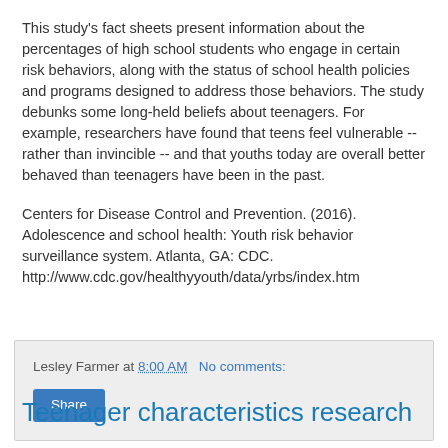This study's fact sheets present information about the percentages of high school students who engage in certain risk behaviors, along with the status of school health policies and programs designed to address those behaviors. The study debunks some long-held beliefs about teenagers. For example, researchers have found that teens feel vulnerable -- rather than invincible -- and that youths today are overall better behaved than teenagers have been in the past.
Centers for Disease Control and Prevention. (2016). Adolescence and school health: Youth risk behavior surveillance system. Atlanta, GA: CDC. http://www.cdc.gov/healthyyouth/data/yrbs/index.htm
Lesley Farmer at 8:00 AM   No comments:
Share
Teenager characteristics research